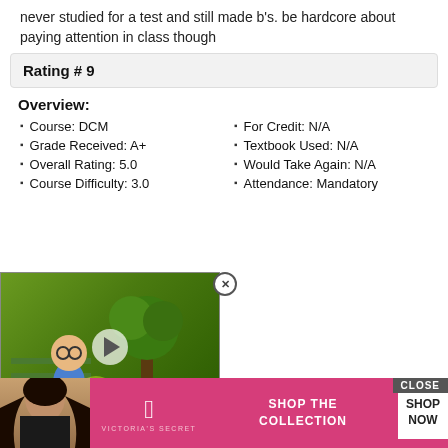never studied for a test and still made b's. be hardcore about paying attention in class though
Rating # 9
Overview:
Course: DCM
Grade Received: A+
Overall Rating: 5.0
Course Difficulty: 3.0
For Credit: N/A
Textbook Used: N/A
Would Take Again: N/A
Attendance: Mandatory
[Figure (screenshot): Animated video thumbnail showing cartoon character near a tree, with a play button overlay]
Overview:
Course: PHIL
Grade Received: (partially visible)
Overall Rating: (partially visible)
For Credit: N/A
[Figure (screenshot): Victoria's Secret advertisement banner with CLOSE button, showing model and SHOP THE COLLECTION / SHOP NOW text]